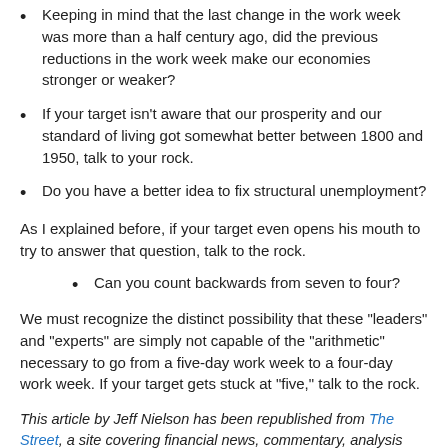Keeping in mind that the last change in the work week was more than a half century ago, did the previous reductions in the work week make our economies stronger or weaker?
If your target isn't aware that our prosperity and our standard of living got somewhat better between 1800 and 1950, talk to your rock.
Do you have a better idea to fix structural unemployment?
As I explained before, if your target even opens his mouth to try to answer that question, talk to the rock.
Can you count backwards from seven to four?
We must recognize the distinct possibility that these "leaders" and "experts" are simply not capable of the "arithmetic" necessary to go from a five-day work week to a four-day work week. If your target gets stuck at "five," talk to the rock.
This article by Jeff Nielson has been republished from The Street, a site covering financial news, commentary, analysis